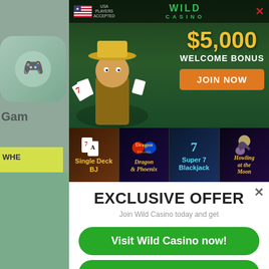[Figure (screenshot): Wild Casino advertisement banner showing $5,000 Welcome Bonus with Join Now button, USA Players Accepted badge, character illustration, and game thumbnails (Single Deck BJ, Dragon Phoenix, Super 7 Blackjack, Howling at the Moon)]
EXCLUSIVE OFFER
Join Wild Casino today and get
$5,000 slots bonus
- 250% bonus up to $1,000 with your first deposit.
- 100% bonus up to $1,000 on your next 4 deposits.
Visit Wild Casino now!
THURSDAY BONUS CODES